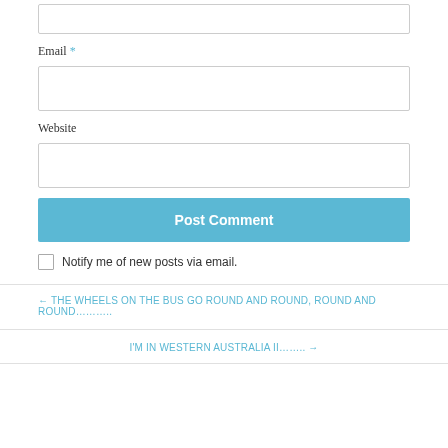Email *
Website
Post Comment
Notify me of new posts via email.
← THE WHEELS ON THE BUS GO ROUND AND ROUND, ROUND AND ROUND………..
I'M IN WESTERN AUSTRALIA II…….. →